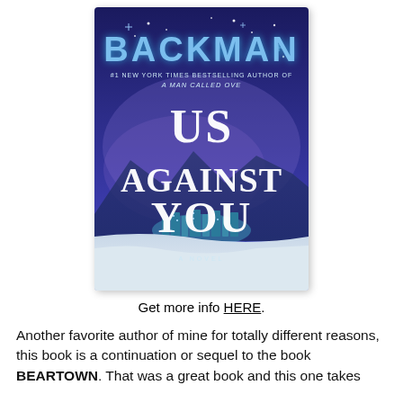[Figure (illustration): Book cover of 'Us Against You' by Fredrik Backman. Dark blue/purple night sky background with stars, snowy landscape and small town silhouette at bottom. Large white handwritten-style title 'US AGAINST YOU'. Author name 'BACKMAN' in large blue letters at top. Subtitle '#1 New York Times Bestselling Author of A Man Called Ove'. 'A NOVEL' at bottom.]
Get more info HERE.
Another favorite author of mine for totally different reasons, this book is a continuation or sequel to the book BEARTOWN. That was a great book and this one takes